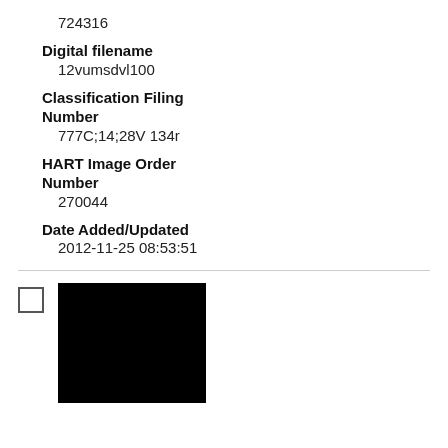724316
Digital filename
12vumsdvl100
Classification Filing Number
777C;14;28V 134r
HART Image Order Number
270044
Date Added/Updated
2012-11-25 08:53:51
[Figure (photo): Black/dark image thumbnail]